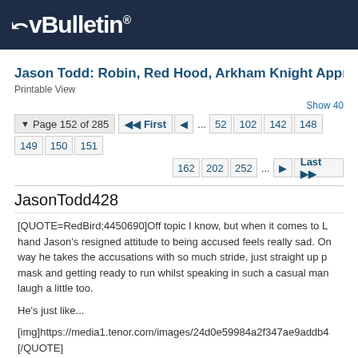[Figure (logo): vBulletin logo — white text on dark navy background]
Jason Todd: Robin, Red Hood, Arkham Knight Appreciation 2019
Printable View
Show 40
Page 152 of 285  First  ...  52  102  142  148  149  150  151  162  202  252  ...  Last
JasonTodd428
[QUOTE=RedBird;4450690]Off topic I know, but when it comes to L hand Jason's resigned attitude to being accused feels really sad. On way he takes the accusations with so much stride, just straight up p mask and getting ready to run whilst speaking in such a casual man laugh a little too.

He's just like...

[img]https://media1.tenor.com/images/24d0e59984a2f347ae9addb4[/QUOTE]

I totally agree with you there. I only read the panels that have been